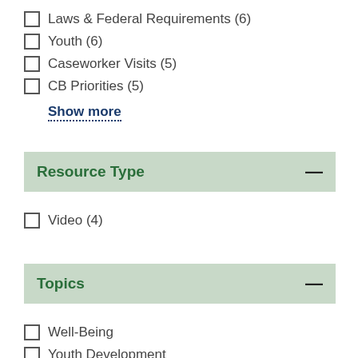Laws & Federal Requirements (6)
Youth (6)
Caseworker Visits (5)
CB Priorities (5)
Show more
Resource Type
Video (4)
Topics
Well-Being
Youth Development
Out-of-Home Services